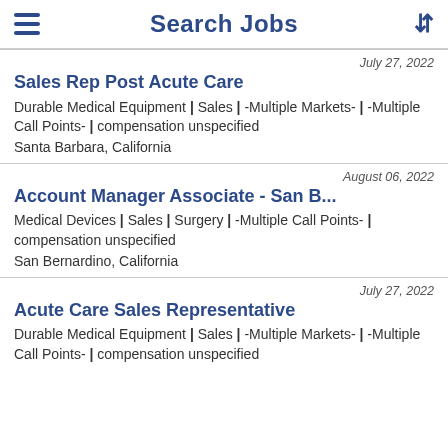Search Jobs
July 27, 2022
Sales Rep Post Acute Care
Durable Medical Equipment | Sales | -Multiple Markets- | -Multiple Call Points- | compensation unspecified
Santa Barbara, California
August 06, 2022
Account Manager Associate - San B...
Medical Devices | Sales | Surgery | -Multiple Call Points- | compensation unspecified
San Bernardino, California
July 27, 2022
Acute Care Sales Representative
Durable Medical Equipment | Sales | -Multiple Markets- | -Multiple Call Points- | compensation unspecified